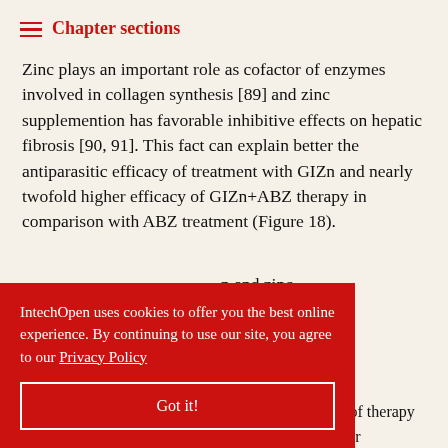Chapter sections
Zinc plays an important role as cofactor of enzymes involved in collagen synthesis [89] and zinc supplemention has favorable inhibitive effects on hepatic fibrosis [90, 91]. This fact can explain better the antiparasitic efficacy of treatment with GIZn and nearly twofold higher efficacy of GIZn+ABZ therapy in comparison with ABZ treatment (Figure 18).
n and zinc inococcosis ulator GIZn e most n. The parasitostatic effect of therapy GIZn+ABZ lasted for
IntechOpen uses cookies to offer you the best online experience. By continuing to use our site, you agree to our Privacy Policy
Got it!